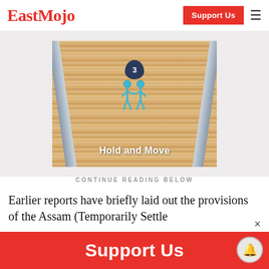EastMojo — Support Us
[Figure (screenshot): Mobile game advertisement showing 'Hold and Move' game with sandy track, two blue stick figures, badge showing number 3, on a beige sandy background with gray rails]
CONTINUE READING BELOW
Earlier reports have briefly laid out the provisions of the Assam (Temporarily Settled
Support Us